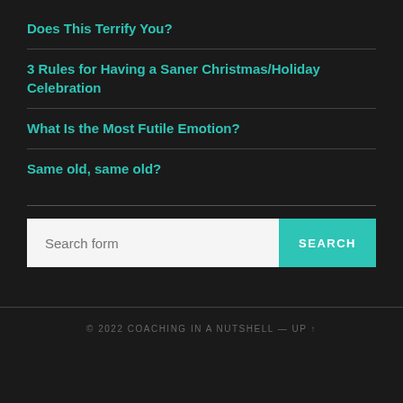Does This Terrify You?
3 Rules for Having a Saner Christmas/Holiday Celebration
What Is the Most Futile Emotion?
Same old, same old?
Search form
© 2022 COACHING IN A NUTSHELL — UP ↑